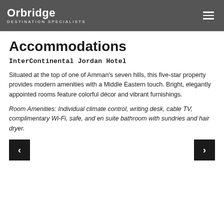Orbridge DESTINATION SPECIALISTS
Accommodations
InterContinental Jordan Hotel
Situated at the top of one of Amman's seven hills, this five-star property provides modern amenities with a Middle Eastern touch. Bright, elegantly appointed rooms feature colorful décor and vibrant furnishings.
Room Amenities: Individual climate control, writing desk, cable TV, complimentary Wi-Fi, safe, and en suite bathroom with sundries and hair dryer.